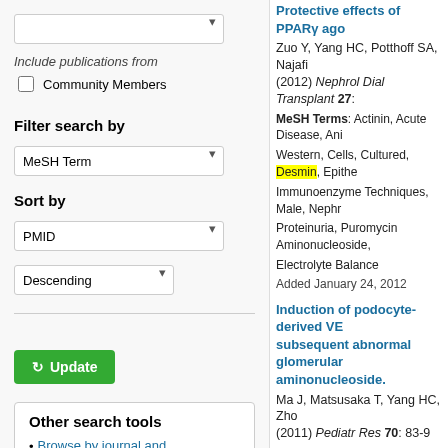Include publications from
Community Members
Filter search by
MeSH Term
Sort by
PMID
Descending
Update
Other search tools
Browse by journal and
Protective effects of PPARγ ago... Zuo Y, Yang HC, Potthoff SA, Najafi... (2012) Nephrol Dial Transplant 27: MeSH Terms: Actinin, Acute Disease, Ani... Western, Cells, Cultured, Desmin, Epithe... Immunoenzyme Techniques, Male, Nephr... Proteinuria, Puromycin Aminonucleoside,... Electrolyte Balance Added January 24, 2012
Induction of podocyte-derived VE... subsequent abnormal glomerula... aminonucleoside. Ma J, Matsusaka T, Yang HC, Zhon... (2011) Pediatr Res 70: 83-9 MeSH Terms: Actinin, Animals, Animals, N... Cells, Cultured, Desmin, Disease Models,... Intracellular Signaling Peptides and Prote... Inbred C57BL, Mice, Transgenic, Microfi... Response Elements, Vascular Endothelia... Added January 25, 2012
Differential expression of immu... muscle and myofibroblasts, and s... vimentin in staging of bladder ca... Council L, Hameed O,